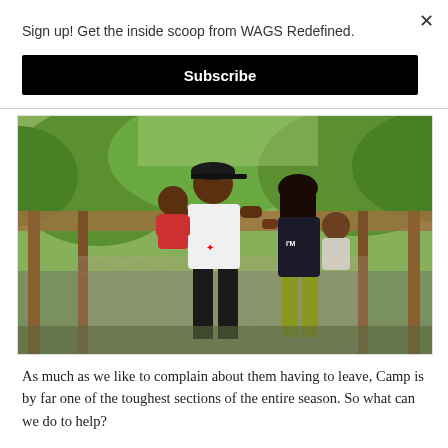Sign up! Get the inside scoop from WAGS Redefined.
Subscribe
[Figure (photo): A family photo of a man in a white Jordan jersey and black cap holding a toddler in a red outfit, and a woman in a black tank top holding another small child, standing on a wooden deck with green trees in the background.]
As much as we like to complain about them having to leave, Camp is by far one of the toughest sections of the entire season. So what can we do to help?